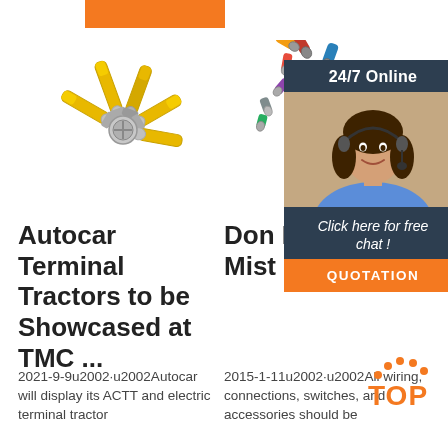[Figure (photo): Yellow wire crimp terminals/connectors fanned out, product photo on white background]
Autocar Terminal Tractors to be Showcased at TMC ...
2021-9-9u2002·u2002Autocar will display its ACTT and electric terminal tractor
[Figure (photo): Colorful wire crimp connectors (red, yellow, blue) product photo, partially overlapped by customer service chat widget overlay showing a woman with headset, '24/7 Online' header, 'Click here for free chat!' CTA, and QUOTATION button]
Don It: To Wiri Mist
2015-1-11u2002·u2002All wiring, connections, switches, and accessories should be
[Figure (logo): TOP logo with orange dotted arch above the word TOP in orange bold text on white background]